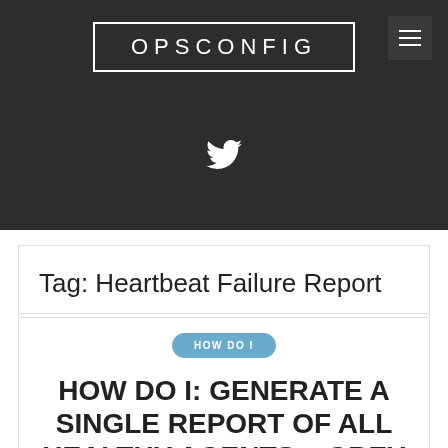OPSCONFIG
[Figure (illustration): Twitter bird icon in white on dark background]
Tag: Heartbeat Failure Report
HOW DO I
HOW DO I: GENERATE A SINGLE REPORT OF ALL HEALTHY AGENTS – GREY